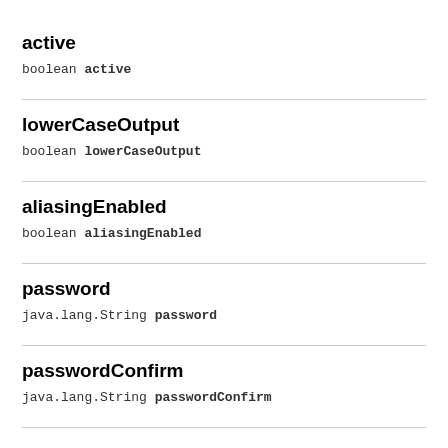active
boolean active
lowerCaseOutput
boolean lowerCaseOutput
aliasingEnabled
boolean aliasingEnabled
password
java.lang.String password
passwordConfirm
java.lang.String passwordConfirm